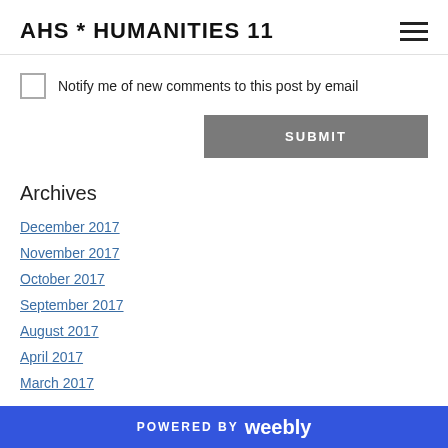AHS * HUMANITIES 11
Notify me of new comments to this post by email
SUBMIT
Archives
December 2017
November 2017
October 2017
September 2017
August 2017
April 2017
March 2017
POWERED BY weebly